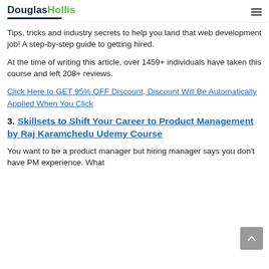DouglasHollis
Tips, tricks and industry secrets to help you land that web development job! A step-by-step guide to getting hired.
At the time of writing this article, over 1459+ individuals have taken this course and left 208+ reviews.
Click Here to GET 95% OFF Discount, Discount Will Be Automatically Applied When You Click
3. Skillsets to Shift Your Career to Product Management by Raj Karamchedu Udemy Course
You want to be a product manager but hiring manager says you don't have PM experience. What